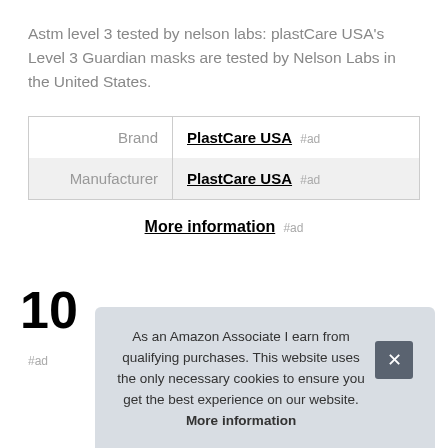Astm level 3 tested by nelson labs: plastCare USA's Level 3 Guardian masks are tested by Nelson Labs in the United States.
| Brand | PlastCare USA #ad |
| Manufacturer | PlastCare USA #ad |
More information #ad
10
#ad
As an Amazon Associate I earn from qualifying purchases. This website uses the only necessary cookies to ensure you get the best experience on our website. More information